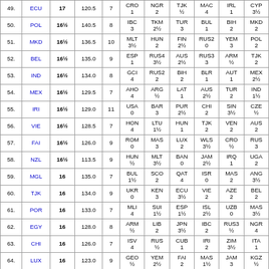| # | Team | Pts | TPB | NW | Opp1 | Opp2 | Opp3 | Opp4 | Opp5 | Opp6 |
| --- | --- | --- | --- | --- | --- | --- | --- | --- | --- | --- |
| 49. | ECU | 17 | 120.5 | 7 | CRO 1 | NGR 2 | TJK ½ | MAC 4 | IRL 1 | CYP 3½ |
| 50. | POL | 16½ | 140.5 | 8 | IBC 3 | TKM 2½ | TUR 3 | BUL 1 | BIH 2 | MKD 2 |
| 51. | MKD | 16½ | 136.5 | 10 | MLT 3½ | HUN 2 | FIN 2½ | RUS2 0 | YEM 3 | POL 2 |
| 52. | BEL | 16½ | 135.0 | 9 | ESP 1 | RUS4 3½ | AUS 2½ | RUS3 3 | ARM ½ | TJK 2 |
| 53. | IND | 16½ | 134.0 | 8 | GCI 4 | RUS2 2 | BIH 2 | BLR 1 | AUT 1 | MEX 2½ |
| 54. | MEX | 16½ | 129.5 | 7 | AHO 4 | ARG ½ | LAT 1 | AUS 2½ | TUR 2 | IND 1½ |
| 55. | IRI | 16½ | 129.0 | 11 | USA 0 | BAR 3 | PUR 2½ | CHI 2 | SIN 3½ | CZE ½ |
| 56. | VIE | 16½ | 128.5 | 7 | HON 4 | LTU 1½ | HUN 1 | TJK 2 | VEN 2 | AUS 2 |
| 57. | FAI | 16½ | 126.0 | 9 | ROM 0 | MAS 3 | LUX 2 | WLS 3½ | CRO ½ | RUS 3 |
| 58. | NZL | 16½ | 113.5 | 9 | HUN ½ | MLT 3½ | BAN 0 | JAM 2½ | IRQ 1 | UGA 2 |
| 59. | MGL | 16 | 135.0 | 7 | BUL 1½ | SCO 2 | QAT 4 | ISR 0 | MAS 2 | ANG 3½ |
| 60. | TJK | 16 | 134.0 | 9 | UKR 0 | KEN 3 | ECU 3½ | VIE 2 | AZE 2 | BEL 2 |
| 61. | POR | 16 | 133.0 | 7 | MLI 4 | SUI 1½ | ESP 1½ | ISL 2½ | UZB 0 | MAS 3½ |
| 62. | EGY | 16 | 128.0 | 8 | ARM ½ | LIB 2 | JPN 3½ | IBC 2 | RUS3 ½ | NGR 4 |
| 63. | CHI | 16 | 126.0 | 7 | ISV 4 | RUS ½ | CUB 1 | IRI 2 | ZIM 3½ | ITA 1 |
| 64. | LUX | 16 | 123.0 | 9 | GEO ½ | YEM 2½ | FAI 2 | MAS 1½ | JAM 3 | KGZ ½ |